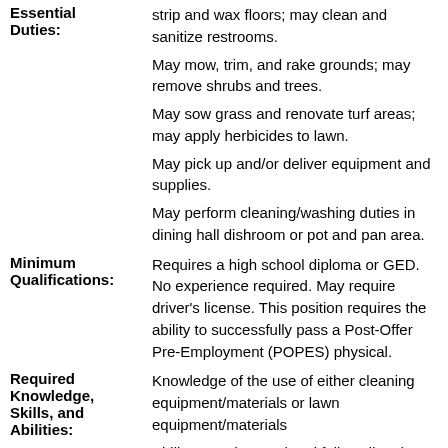Essential Duties:
strip and wax floors; may clean and sanitize restrooms.
May mow, trim, and rake grounds; may remove shrubs and trees.
May sow grass and renovate turf areas; may apply herbicides to lawn.
May pick up and/or deliver equipment and supplies.
May perform cleaning/washing duties in dining hall dishroom or pot and pan area.
Minimum Qualifications:
Requires a high school diploma or GED. No experience required. May require driver's license. This position requires the ability to successfully pass a Post-Offer Pre-Employment (POPES) physical.
Required Knowledge, Skills, and Abilities:
Knowledge of the use of either cleaning equipment/materials or lawn equipment/materials
Ability to understand and follow directions
Benefits Eligible
Yes